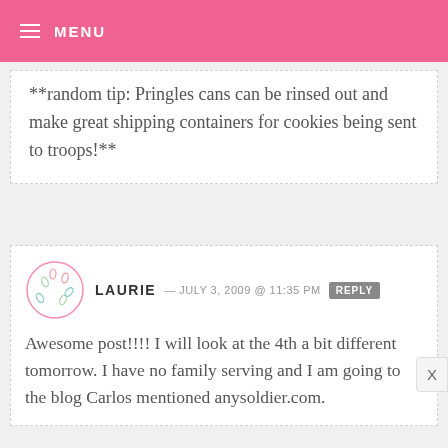MENU
**random tip: Pringles cans can be rinsed out and make great shipping containers for cookies being sent to troops!**
LAURIE — JULY 3, 2009 @ 11:35 PM  REPLY
Awesome post!!!! I will look at the 4th a bit different tomorrow. I have no family serving and I am going to the blog Carlos mentioned anysoldier.com.